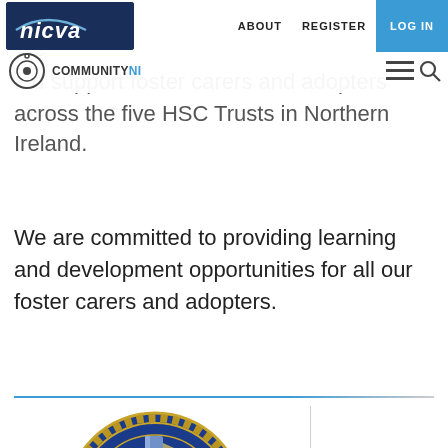nicva | ABOUT | REGISTER | LOG IN
where they are nurtured and developed. We ... support foster carers and adopters across the five HSC Trusts in Northern Ireland.
We are committed to providing learning and development opportunities for all our foster carers and adopters.
[Figure (logo): Rathmore school crest: blue circular badge with gold chain border, cross, scroll reading 'UT VITAM HABEANT', fleur-de-lis, and banner reading 'RATHMORE']